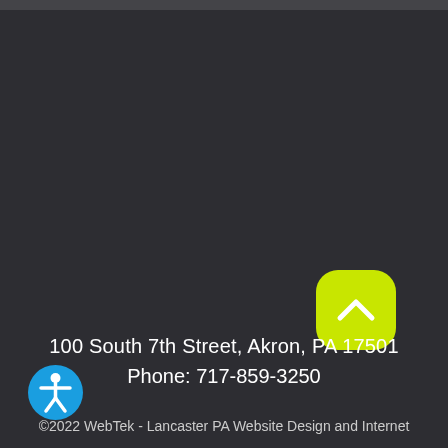[Figure (other): Yellow-green rounded square back-to-top button with white chevron/caret arrow pointing upward]
100 South 7th Street, Akron, PA 17501
Phone: 717-859-3250
©2022 WebTek - Lancaster PA Website Design and Internet